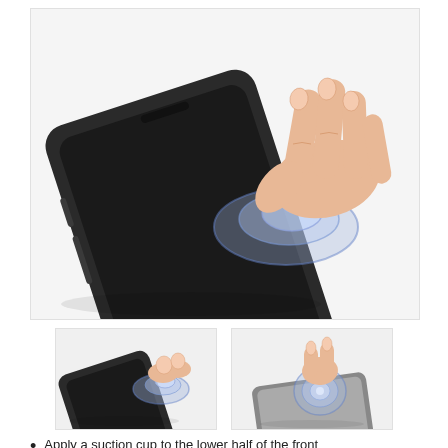[Figure (photo): A hand pressing down a clear suction cup onto the lower half of a dark smartphone screen. The phone lies flat on a white surface. The suction cup is transparent/blue-tinted and circular.]
[Figure (photo): Smaller thumbnail: fingers pressing a suction cup onto a dark smartphone, angled view.]
[Figure (photo): Smaller thumbnail: a hand pressing a suction cup onto a gray flat device (phone or tablet), top-down view.]
Apply a suction cup to the lower half of the front